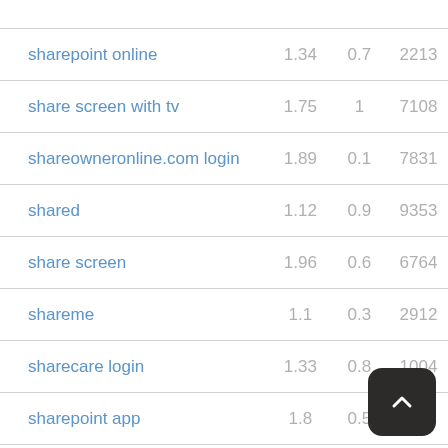| keyword | value1 | value2 | value3 |
| --- | --- | --- | --- |
| sharepoint online | 1.34 | 0.7 | 2213 |
| share screen with tv | 1.75 | 1 | 7108 |
| shareowneronline.com login | 1.89 | 0.1 | 7831 |
| shared | 1.12 | 0.9 | 9353 |
| share screen | 1.96 | 0.6 | 6764 |
| shareme | 1.1 | 0.3 | 2912 |
| sharecare login | 1.33 | 0.8 | 1004 |
| sharepoint app | 1.8 | 0.5 | 19... |
| sharepoint admin center | 1.75 | 0.6 | 5340 |